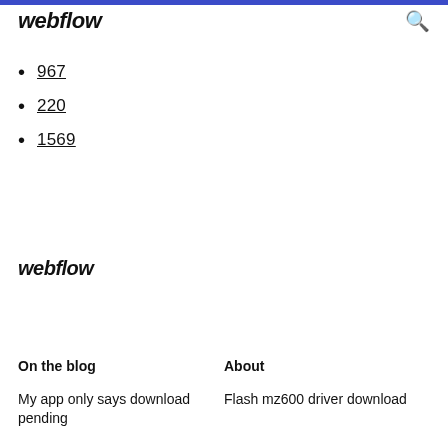webflow
967
220
1569
webflow
On the blog
About
My app only says download pending
Flash mz600 driver download